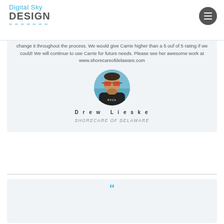Digital Sky DESIGN
change it throughout the process. We would give Carrie higher than a 5 ouf of 5 rating if we could! We will continue to use Carrie for future needs. Please see her awesome work at www.shorecareofdelaware.com
[Figure (photo): Circular profile photo of Drew Lieske wearing sunglasses and a dark top, with a blue/water background]
Drew Lieske
SHORECARE OF DELAWARE
[Figure (illustration): Cyan/blue quotation mark symbol at the top of a new testimonial card]